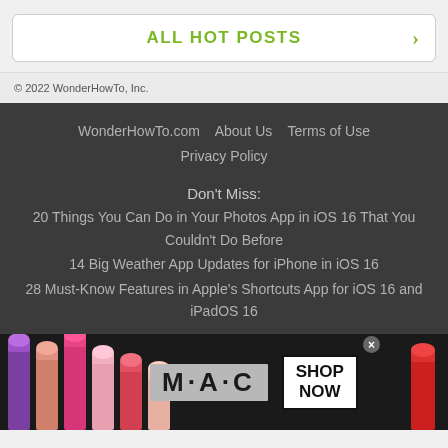ALL HOT POSTS →
© 2022 WonderHowTo, Inc.
WonderHowTo.com   About Us   Terms of Use   Privacy Policy
Don't Miss:
20 Things You Can Do in Your Photos App in iOS 16 That You Couldn't Do Before
14 Big Weather App Updates for iPhone in iOS 16
28 Must-Know Features in Apple's Shortcuts App for iOS 16 and iPadOS 16
[Figure (photo): MAC cosmetics advertisement banner showing colorful lipsticks with MAC logo and SHOP NOW button]